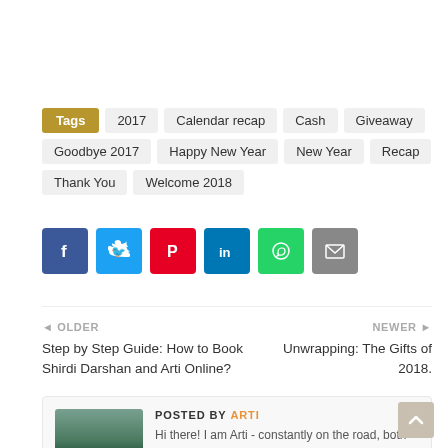Tags: 2017 | Calendar recap | Cash | Giveaway | Goodbye 2017 | Happy New Year | New Year | Recap | Thank You | Welcome 2018
[Figure (infographic): Social share buttons: Facebook (blue), Twitter (light blue), Pinterest (red), LinkedIn (dark blue), WhatsApp (green), Email (grey)]
OLDER
Step by Step Guide: How to Book Shirdi Darshan and Arti Online?
NEWER
Unwrapping: The Gifts of 2018.
POSTED BY ARTI
Hi there! I am Arti - constantly on the road, both figuratively and literally, unwrapping my unique gift called life. My blog, which focuses on spiritual